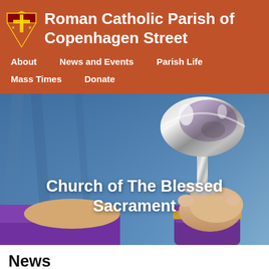Roman Catholic Parish of Copenhagen Street
About
News and Events
Parish Life
Mass Times
Donate
[Figure (photo): Photo of a priest holding up a silver chalice/goblet with a blue background; the priest is wearing purple vestments with a gold cuff visible. The photo is used as a hero image for the Church of The Blessed Sacrament.]
Church of The Blessed Sacrament
News